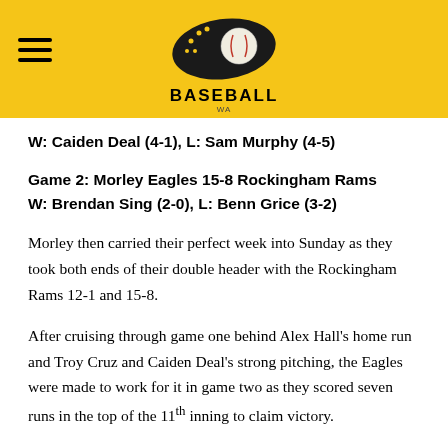Baseball WA
W: Caiden Deal (4-1), L: Sam Murphy (4-5)
Game 2: Morley Eagles 15-8 Rockingham Rams
W: Brendan Sing (2-0), L: Benn Grice (3-2)
Morley then carried their perfect week into Sunday as they took both ends of their double header with the Rockingham Rams 12-1 and 15-8.
After cruising through game one behind Alex Hall's home run and Troy Cruz and Caiden Deal's strong pitching, the Eagles were made to work for it in game two as they scored seven runs in the top of the 11th inning to claim victory.